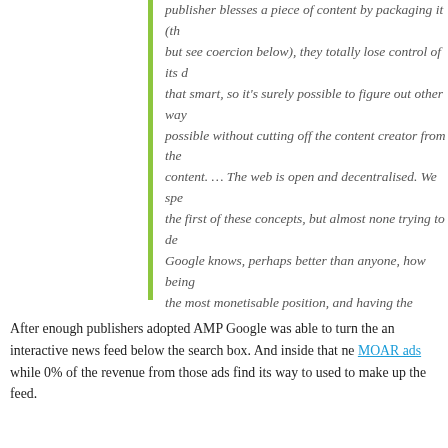publisher blesses a piece of content by packaging it (the AMP part, but see coercion below), they totally lose control of its distribution ... that smart, so it's surely possible to figure out other ways ... possible without cutting off the content creator from the ... content. ... The web is open and decentralised. We spent a lot of time on the first of these concepts, but almost none trying to defend ... Google knows, perhaps better than anyone, how being at the most monetisable position, and having the deepest pockets... powerful platform to do so, they have very successfully ... into my relationship with millions of other websites. ... In ... paywalls is based on a recommendation that the premium content be in the source of the page regardless of the user's authorisation ... policies demonstrate contempt for others' right to freely ... businesses.
After enough publishers adopted AMP Google was able to turn the ... an interactive news feed below the search box. And inside that news feed... MOAR ads while 0% of the revenue from those ads find its way to the publishers used to make up the feed.